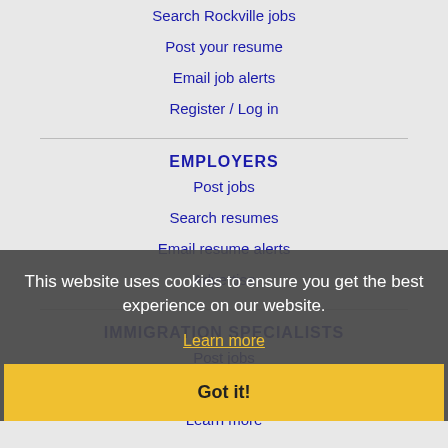Search Rockville jobs
Post your resume
Email job alerts
Register / Log in
EMPLOYERS
Post jobs
Search resumes
Email resume alerts
Advertise
IMMIGRATION SPECIALISTS
Post jobs
Immigration FAQs
Learn more
This website uses cookies to ensure you get the best experience on our website.
Learn more
Got it!